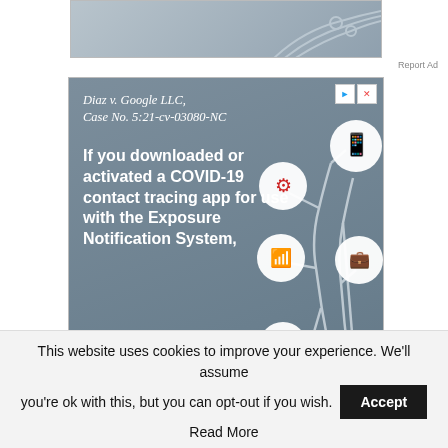[Figure (screenshot): Top partial advertisement banner with grey gradient background and circuit-line decorations]
Report Ad
[Figure (infographic): Legal class action advertisement: Diaz v. Google LLC, Case No. 5:21-cv-03080-NC. If you downloaded or activated a COVID-19 contact tracing app for use with the Exposure Notification System, this class action settlement may affect your rights. Decorative tech icons on right side.]
Report Ad
But this regulation is needless and should be reversed.
This website uses cookies to improve your experience. We'll assume you're ok with this, but you can opt-out if you wish.
Accept
Read More